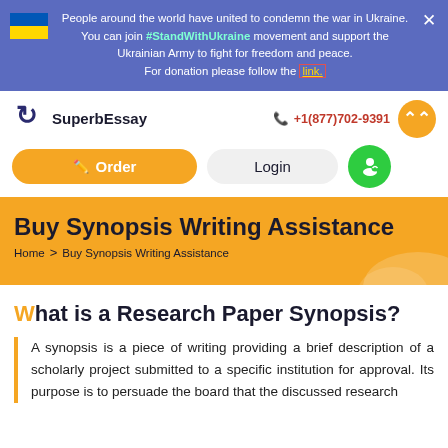People around the world have united to condemn the war in Ukraine. You can join #StandWithUkraine movement and support the Ukrainian Army to fight for freedom and peace. For donation please follow the link.
[Figure (logo): SuperbEssay logo with circular arrow icon]
+1(877)702-9391
Order
Login
Buy Synopsis Writing Assistance
Home > Buy Synopsis Writing Assistance
What is a Research Paper Synopsis?
A synopsis is a piece of writing providing a brief description of a scholarly project submitted to a specific institution for approval. Its purpose is to persuade the board that the discussed research